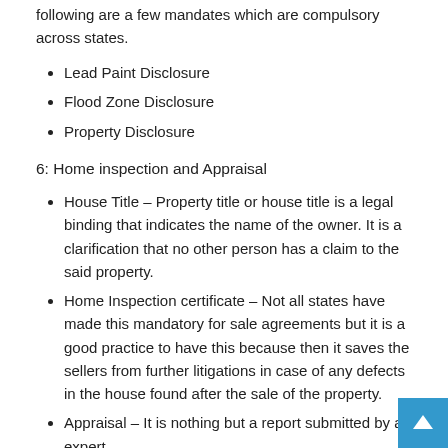following are a few mandates which are compulsory across states.
Lead Paint Disclosure
Flood Zone Disclosure
Property Disclosure
6: Home inspection and Appraisal
House Title – Property title or house title is a legal binding that indicates the name of the owner. It is a clarification that no other person has a claim to the said property.
Home Inspection certificate – Not all states have made this mandatory for sale agreements but it is a good practice to have this because then it saves the sellers from further litigations in case of any defects in the house found after the sale of the property.
Appraisal – It is nothing but a report submitted by an expert